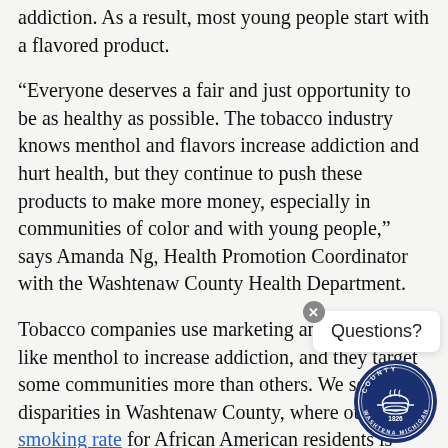addiction. As a result, most young people start with a flavored product.
“Everyone deserves a fair and just opportunity to be as healthy as possible. The tobacco industry knows menthol and flavors increase addiction and hurt health, but they continue to push these products to make more money, especially in communities of color and with young people,” says Amanda Ng, Health Promotion Coordinator with the Washtenaw County Health Department.
Tobacco companies use marketing and products like menthol to increase addiction, and they target some communities more than others. We see these disparities in Washtenaw County, where our smoking rate for African American residents is higher than our county’s smoking rate (17% among African Americans compared to 11% overall). As a result of this targeted marketing, African Americans suffer the greatest